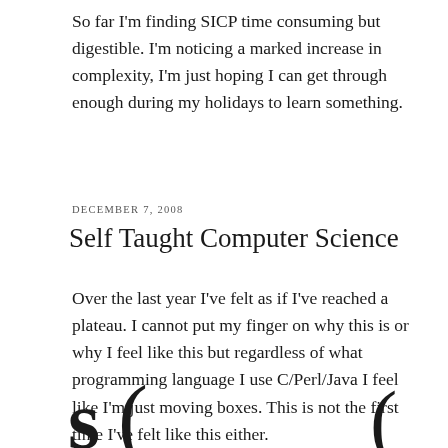So far I'm finding SICP time consuming but digestible. I'm noticing a marked increase in complexity, I'm just hoping I can get through enough during my holidays to learn something.
DECEMBER 7, 2008
Self Taught Computer Science
Over the last year I've felt as if I've reached a plateau. I cannot put my finger on why this is or why I feel like this but regardless of what programming language I use C/Perl/Java I feel like I'm just moving boxes. This is not the first time I've felt like this either.
[Figure (illustration): Partial view of stylized letters or characters at the bottom of the page, showing 's(' on the left and a curved bracket or letter on the right, suggesting Scheme/Lisp code notation.]